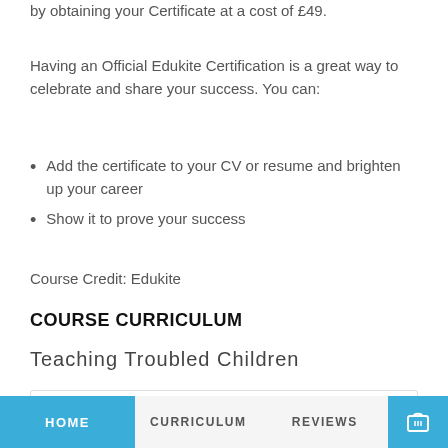by obtaining your Certificate at a cost of £49.
Having an Official Edukite Certification is a great way to celebrate and share your success. You can:
Add the certificate to your CV or resume and brighten up your career
Show it to prove your success
Course Credit: Edukite
COURSE CURRICULUM
Teaching Troubled Children
YOU AND YOUR CHILD STUDY   01:30:00
HOME   CURRICULUM   REVIEWS